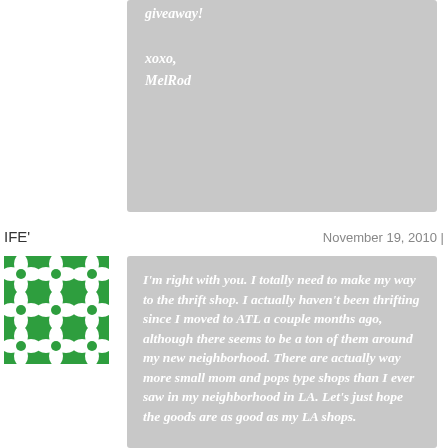giveaway!

xoxo,
MelRod
IFE'
November 19, 2010 |
[Figure (illustration): Green and white decorative tile/avatar image with geometric floral pattern]
I'm right with you. I totally need to make my way to the thrift shop. I actually haven't been thrifting since I moved to ATL a couple months ago, although there seems to be a ton of them around my new neighborhood. There are actually way more small mom and pops type shops than I ever saw in my neighborhood in LA. Let's just hope the goods are as good as my LA shops.